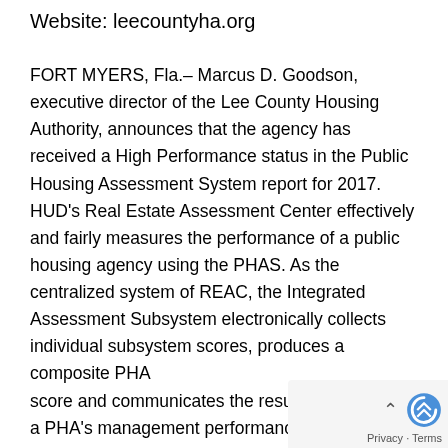Website: leecountyha.org
FORT MYERS, Fla.– Marcus D. Goodson, executive director of the Lee County Housing Authority, announces that the agency has received a High Performance status in the Public Housing Assessment System report for 2017. HUD's Real Estate Assessment Center effectively and fairly measures the performance of a public housing agency using the PHAS. As the centralized system of REAC, the Integrated Assessment Subsystem electronically collects individual subsystem scores, produces a composite PHA score and communicates the results that reflect a PHA's management performance. The PHAS scored LCHA 97 points out of a possible